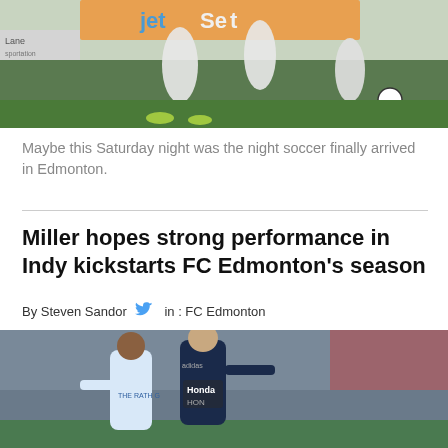[Figure (photo): Soccer players on field, one player jumping/kicking, JetSet advertising banner visible in background]
Maybe this Saturday night was the night soccer finally arrived in Edmonton.
Miller hopes strong performance in Indy kickstarts FC Edmonton's season
By Steven Sandor   in : FC Edmonton
[Figure (photo): Two soccer players competing for ball, one in white FC Edmonton jersey, one in dark navy Indy Eleven jersey with Honda sponsor, crowd visible in background]